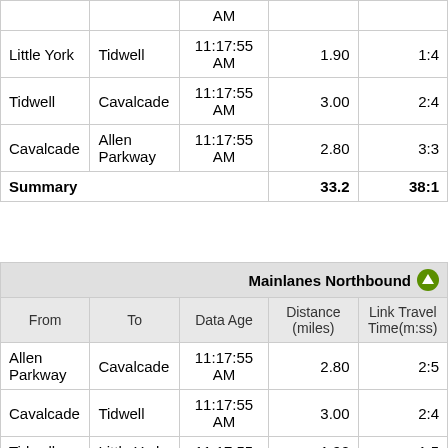| From | To | Data Age | Distance (miles) | Link Travel Time(m:ss) |
| --- | --- | --- | --- | --- |
|  |  | AM |  |  |
| Little York | Tidwell | 11:17:55 AM | 1.90 | 1:4 |
| Tidwell | Cavalcade | 11:17:55 AM | 3.00 | 2:4 |
| Cavalcade | Allen Parkway | 11:17:55 AM | 2.80 | 3:3 |
| Summary |  |  | 33.2 | 38:1 |
| From | To | Data Age | Distance (miles) | Link Travel Time(m:ss) |
| --- | --- | --- | --- | --- |
| Mainlanes Northbound |  |  |  |  |
| Allen Parkway | Cavalcade | 11:17:55 AM | 2.80 | 2:5 |
| Cavalcade | Tidwell | 11:17:55 AM | 3.00 | 2:4 |
| Tidwell | Little York | 11:17:55 | 1.90 | 1:5 |